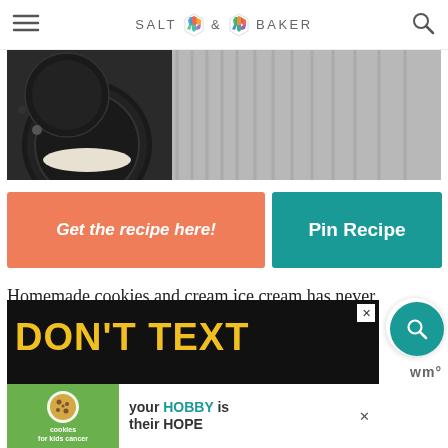SALT & BAKER
[Figure (photo): Close-up photo of Oreo cookies and cream, dark background with fabric texture]
Get the recipe here!
Pin Recipe
Homemade cookies and cream ice cream has never been so good with this no churn ice cream recipe! It's the perfect cold and sweet treat!
[Figure (infographic): Advertisement banner showing 'DON'T TEXT' in yellow on black background, with cookies for kids cancer ad overlay showing 'your HOBBY is their HOPE']
wm°